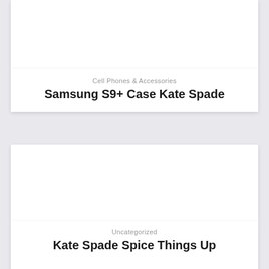[Figure (photo): White image area (cropped product photo) at top of page]
Cell Phones & Accessories
Samsung S9+ Case Kate Spade
[Figure (photo): White image area (cropped product photo) in middle section]
Uncategorized
Kate Spade Spice Things Up